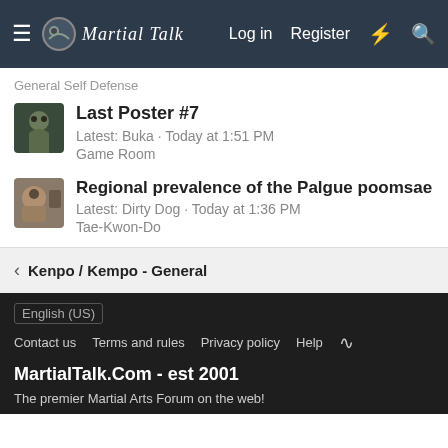Martial Talk — Log in  Register
General Self Defense
Last Poster #7
Latest: Buka · Today at 1:51 PM
Game Room
Regional prevalence of the Palgue poomsae
Latest: Dirty Dog · Today at 1:36 PM
Tae-Kwon-Do
Kenpo / Kempo - General
English (US)
Contact us  Terms and rules  Privacy policy  Help
MartialTalk.Com - est 2001
The premier Martial Arts Forum on the web!